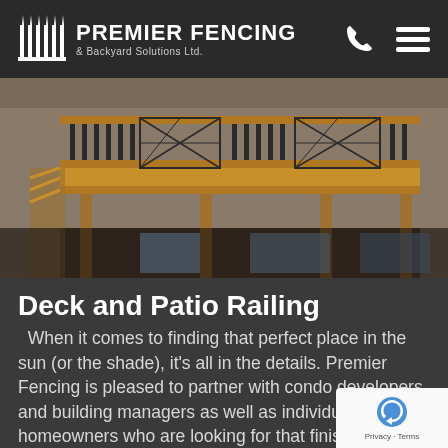PREMIER FENCING & Backyard Solutions Ltd.
[Figure (photo): A wooden deck with black metal railing, showing a raised deck structure with decorative iron balusters and lattice panels on the upper level, with wooden support posts below.]
Deck and Patio Railing
When it comes to finding that perfect place in the sun (or the shade), it's all in the details. Premier Fencing is pleased to partner with condo developers and building managers as well as individual homeowners who are looking for that finishing touch. We offer the design, construction and installation experience
[Figure (logo): Google reCAPTCHA badge with reCAPTCHA logo and Privacy · Terms text]